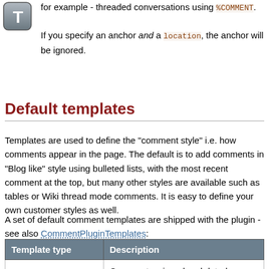[Figure (logo): Letter T icon badge in top left corner]
for example - threaded conversations using %COMMENT. If you specify an anchor and a location, the anchor will be ignored.
Default templates
Templates are used to define the "comment style" i.e. how comments appear in the page. The default is to add comments in "Blog like" style using bulleted lists, with the most recent comment at the top, but many other styles are available such as tables or Wiki thread mode comments. It is easy to define your own customer styles as well.
A set of default comment templates are shipped with the plugin - see also CommentPluginTemplates:
| Template type | Description |
| --- | --- |
| top | Comments, signed and dated (server time), added at top of the topic (the anchor is ignored) |
| bottom | Comments, signed and dated (server time), added at end of the target topic |